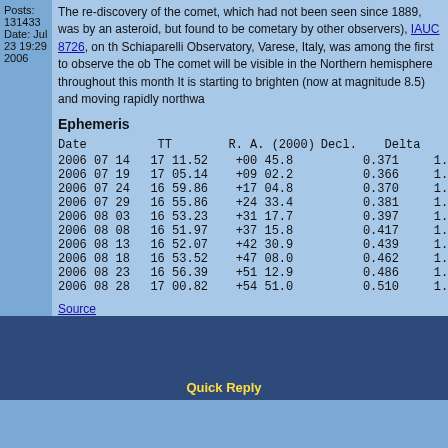Posts: 131433 Date: Jul 23 19:29 2006
The re-discovery of the comet, which had not been seen since 1889, was by an asteroid, but found to be cometary by other observers), IAUC 8726, on th Schiaparelli Observatory, Varese, Italy, was among the first to observe the ob The comet will be visible in the Northern hemisphere throughout this month It is starting to brighten (now at magnitude 8.5) and moving rapidly northwa
Ephemeris
| Date | TT | R. A. (2000) | Decl. | Delta | r |
| --- | --- | --- | --- | --- | --- |
| 2006 07 14 | 17 11.52 | +00 45.8 | 0.371 | 1.319 |
| 2006 07 19 | 17 05.14 | +09 02.2 | 0.366 | 1.279 |
| 2006 07 24 | 16 59.86 | +17 04.8 | 0.370 | 1.243 |
| 2006 07 29 | 16 55.86 | +24 33.4 | 0.381 | 1.209 |
| 2006 08 03 | 16 53.23 | +31 17.7 | 0.397 | 1.180 |
| 2006 08 08 | 16 51.97 | +37 15.8 | 0.417 | 1.155 |
| 2006 08 13 | 16 52.07 | +42 30.9 | 0.439 | 1.135 |
| 2006 08 18 | 16 53.52 | +47 08.0 | 0.462 | 1.120 |
| 2006 08 23 | 16 56.39 | +51 12.9 | 0.486 | 1.111 |
| 2006 08 28 | 17 00.82 | +54 51.0 | 0.510 | 1.107 |
Source